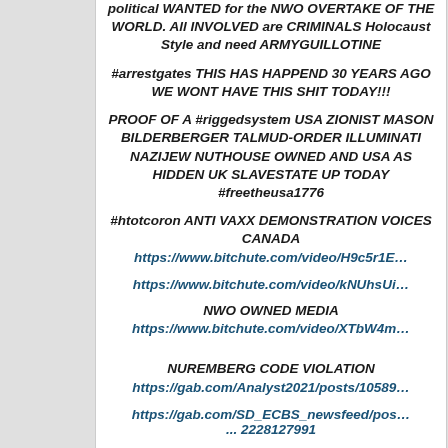political WANTED for the NWO OVERTAKE OF THE WORLD. All INVOLVED are CRIMINALS Holocaust Style and need ARMYGUILLOTINE
#arrestgates THIS HAS HAPPEND 30 YEARS AGO WE WONT HAVE THIS SHIT TODAY!!!
PROOF OF A #riggedsystem USA ZIONIST MASON BILDERBERGER TALMUD-ORDER ILLUMINATI NAZIJEW NUTHOUSE OWNED AND USA AS HIDDEN UK SLAVESTATE UP TODAY #freetheusa1776
#htotcoron ANTI VAXX DEMONSTRATION VOICES CANADA https://www.bitchute.com/video/H9c5r1E…
https://www.bitchute.com/video/kNUhsUi…
NWO OWNED MEDIA https://www.bitchute.com/video/XTbW4m…
NUREMBERG CODE VIOLATION https://gab.com/Analyst2021/posts/10589…
https://gab.com/SD_ECBS_newsfeed/pos… ... 2228127991